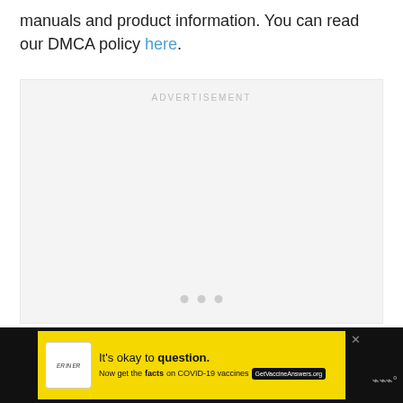manuals and product information. You can read our DMCA policy here.
[Figure (other): Advertisement placeholder box with loading dots]
[Figure (other): Bottom banner advertisement: It's okay to question. Now get the facts on COVID-19 vaccines. GetVaccineAnswers.org]